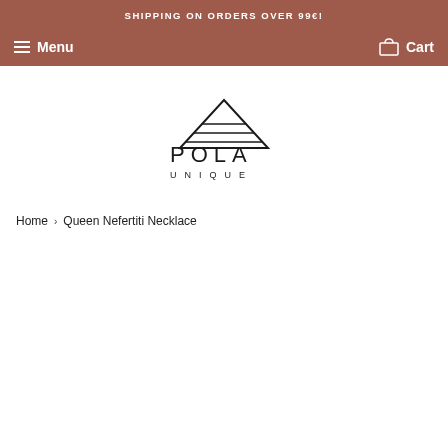SHIPPING ON ORDERS OVER 99€!
Menu   Cart
[Figure (logo): POLA UNIQUE logo with stylized triangle/pyramid shape above the word POLA and UNIQUE in spaced capital letters below]
Home › Queen Nefertiti Necklace